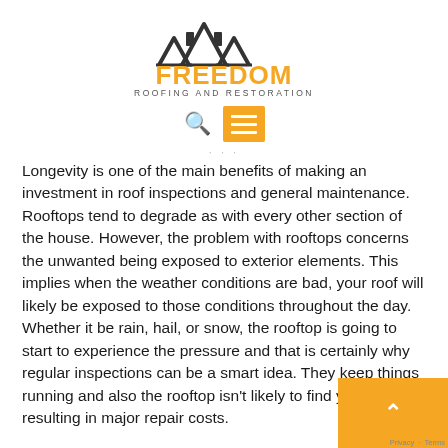[Figure (logo): Freedom Roofing and Restoration logo with house/roof icon above text]
[Figure (infographic): Navigation bar with search magnifier icon and orange hamburger menu button]
Longevity is one of the main benefits of making an investment in roof inspections and general maintenance. Rooftops tend to degrade as with every other section of the house. However, the problem with rooftops concerns the unwanted being exposed to exterior elements. This implies when the weather conditions are bad, your roof will likely be exposed to those conditions throughout the day. Whether it be rain, hail, or snow, the rooftop is going to start to experience the pressure and that is certainly why regular inspections can be a smart idea. They keep things running and also the rooftop isn't likely to find yourself resulting in major repair costs.